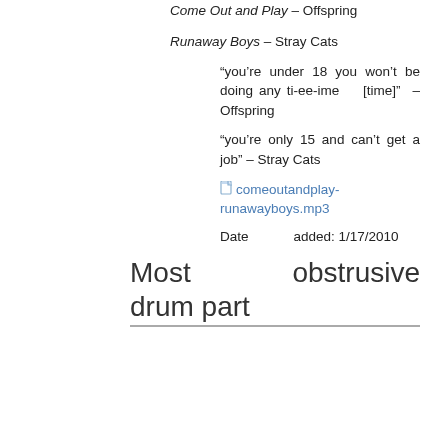Come Out and Play – Offspring
Runaway Boys – Stray Cats
“you’re under 18 you won’t be doing any ti-ee-ime [time]” – Offspring
“you’re only 15 and can’t get a job” – Stray Cats
comeoutandplay-runawayboys.mp3
Date added: 1/17/2010
Most obstrusive drum part